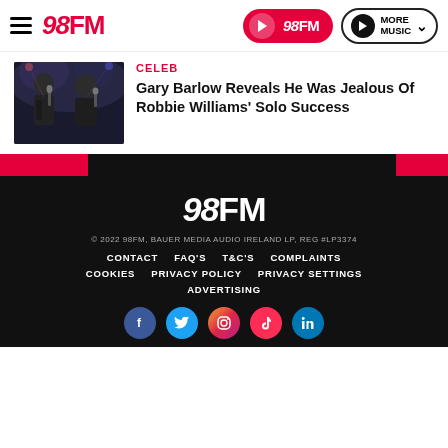98FM – Header navigation with hamburger menu, 98FM logo, play button, and MORE MUSIC button
CELEB
Gary Barlow Reveals He Was Jealous Of Robbie Williams' Solo Success
[Figure (photo): Two male singers performing on stage, wearing dark clothing, holding microphones]
98FM footer with logo, © 2022 98FM, BAUER MEDIA AUDIO IRELAND LP, REG #LP3374, links: CONTACT, FAQ'S, T&C'S, COMPLAINTS, COOKIES, PRIVACY POLICY, PRIVACY SETTINGS, ADVERTISING, and social icons for Facebook, Twitter, Instagram, TikTok, LinkedIn